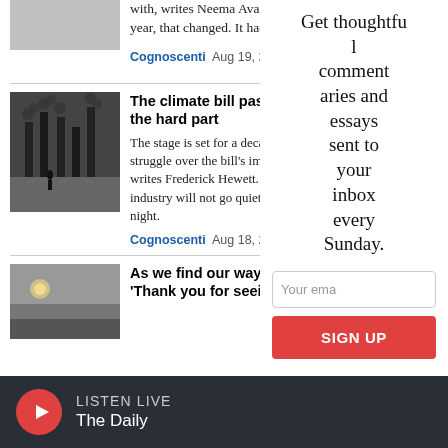with, writes Neema Avashi year, that changed. It had t
Cognoscenti  Aug 19, 2022
The climate bill passed — the hard part
The stage is set for a deca struggle over the bill's imp writes Frederick Hewett. T industry will not go quietly night.
Cognoscenti  Aug 18, 2022
As we find our way back t 'Thank you for seeing me
Get thoughtful commentaries and essays sent to your inbox every Sunday.
Your ema
SIGN UP
LISTEN LIVE
The Daily